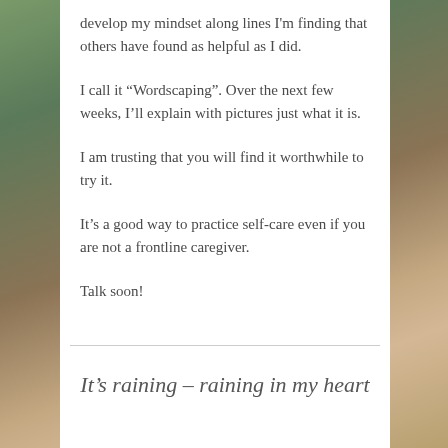develop my mindset along lines I'm finding that others have found as helpful as I did.
I call it “Wordscaping”. Over the next few weeks, I’ll explain with pictures just what it is.
I am trusting that you will find it worthwhile to try it.
It’s a good way to practice self-care even if you are not a frontline caregiver.
Talk soon!
It’s raining – raining in my heart